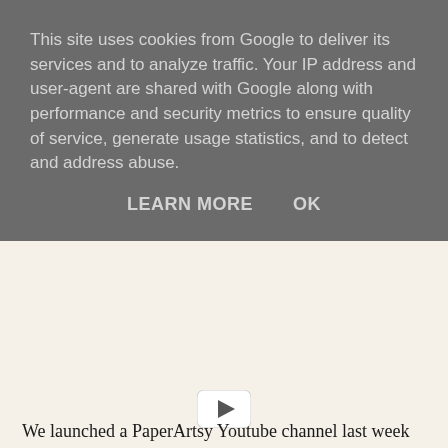This site uses cookies from Google to deliver its services and to analyze traffic. Your IP address and user-agent are shared with Google along with performance and security metrics to ensure quality of service, generate usage statistics, and to detect and address abuse.
LEARN MORE   OK
[Figure (other): YouTube play button icon]
We launched a PaperArtsy Youtube channel last week and I have put a couple of videos up relevant to recent blog posts.
Firstly stamping into texture. In this video I used Terra and Ferro, but you don't have to use both on the same project, you could use one or the other. I put a couple of dark colours into the dips, but you can put light in the dips, or leave as is and put darker colours on top. It really is a lot of fun, and great for onto wooden frames or surfaces as well as papier mache or chipboard.